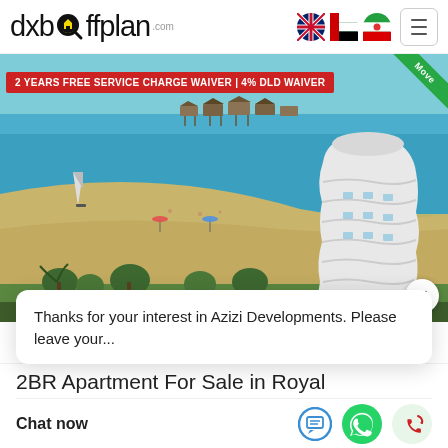[Figure (logo): dxboffplan.com logo with magnifying glass icon incorporating a house shape]
[Figure (illustration): Navigation flags: UK flag, UAE flag, Iran flag, and hamburger menu button]
[Figure (photo): Aerial view of a beachfront development with turquoise water, overwater bungalows in background, sandy beach, palm trees, and a modern high-rise building on the right side. Red banner says '2 YEARS FREE SERVICE CHARGE WAIVER | 4% DLD WAIVER'. Green 'Move' badge in top-right corner.]
Thanks for your interest in Azizi Developments. Please leave your...
2BR Apartment For Sale in Royal
Chat now